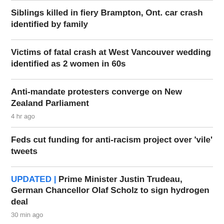Siblings killed in fiery Brampton, Ont. car crash identified by family
Victims of fatal crash at West Vancouver wedding identified as 2 women in 60s
Anti-mandate protesters converge on New Zealand Parliament
4 hr ago
Feds cut funding for anti-racism project over 'vile' tweets
UPDATED | Prime Minister Justin Trudeau, German Chancellor Olaf Scholz to sign hydrogen deal
30 min ago